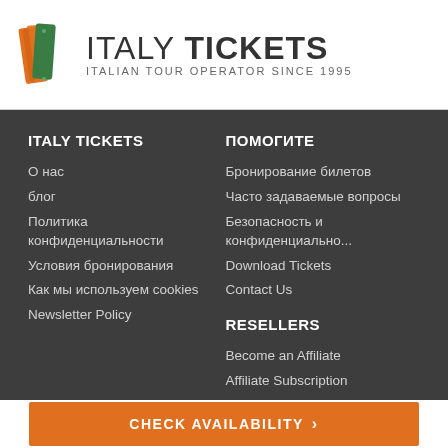[Figure (logo): Italy Tickets logo with ticket icon and text 'ITALY TICKETS - ITALIAN TOUR OPERATOR SINCE 1995']
ITALY TICKETS
О нас
блог
Политика конфиденциальности
Условия бронирования
Как мы используем cookies
Newsletter Policy
ПОМОГИТЕ
Бронирование билетов
Часто задаваемые вопросы
Безопасность и конфиденциально...
Download Tickets
Contact Us
RESELLERS
Become an Affiliate
Affiliate Subscription
CHECK AVAILABILITY >